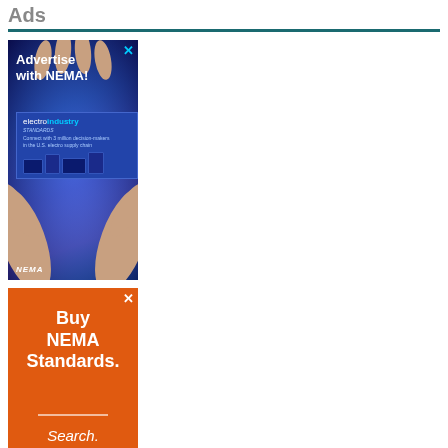Ads
[Figure (photo): Advertisement banner: 'Advertise with NEMA!' showing electroindustry magazine on digital devices, with hands holding a glowing blue sphere. NEMA logo at bottom.]
[Figure (photo): Advertisement banner: 'Buy NEMA Standards. Search.' on orange background.]